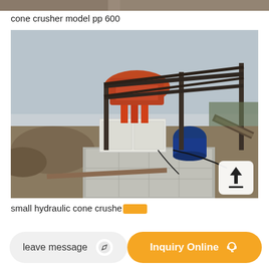[Figure (photo): Partial view of a previous image at top of page (image strip)]
cone crusher model pp 600
[Figure (photo): Outdoor photo of a cone crusher machine installation (model pp 600) on a concrete platform with industrial conveyor structure, motor, and equipment visible. An upload icon is overlaid in the bottom-right corner.]
small hydraulic cone crusher
leave message
Inquiry Online